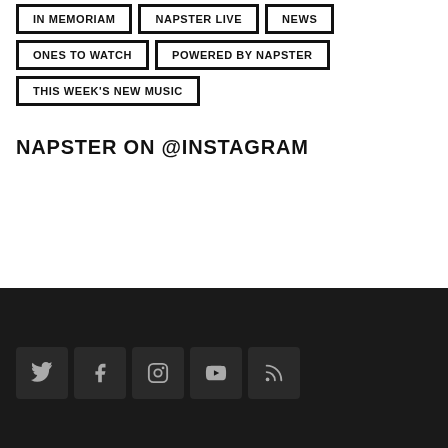IN MEMORIAM
NAPSTER LIVE
NEWS
ONES TO WATCH
POWERED BY NAPSTER
THIS WEEK'S NEW MUSIC
NAPSTER ON @INSTAGRAM
[Figure (infographic): Social media icon buttons for Twitter, Facebook, Instagram, YouTube, and RSS feed on a dark background]